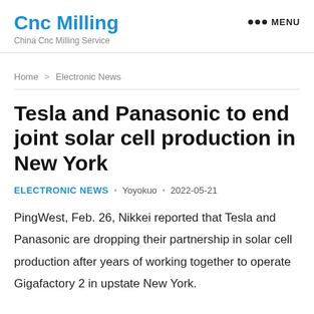Cnc Milling
China Cnc Milling Service
Home > Electronic News
Tesla and Panasonic to end joint solar cell production in New York
ELECTRONIC NEWS • Yoyokuo • 2022-05-21
PingWest, Feb. 26, Nikkei reported that Tesla and Panasonic are dropping their partnership in solar cell production after years of working together to operate Gigafactory 2 in upstate New York.